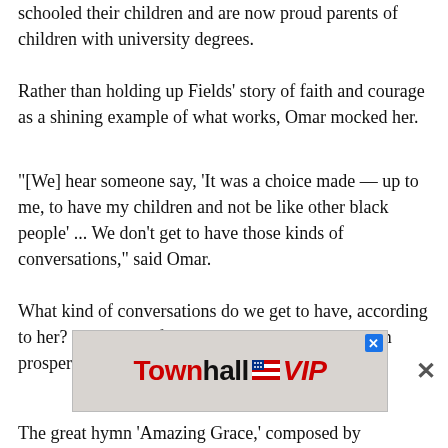schooled their children and are now proud parents of children with university degrees.
Rather than holding up Fields' story of faith and courage as a shining example of what works, Omar mocked her.
"[We] hear someone say, 'It was a choice made — up to me, to have my children and not be like other black people' ... We don't get to have those kinds of conversations," said Omar.
What kind of conversations do we get to have, according to her? "The kind of systematic barriers that exist in prosperity — that's the conversation we should be having," she said.
[Figure (logo): Townhall VIP advertisement banner with logo]
The great hymn 'Amazing Grace,' composed by